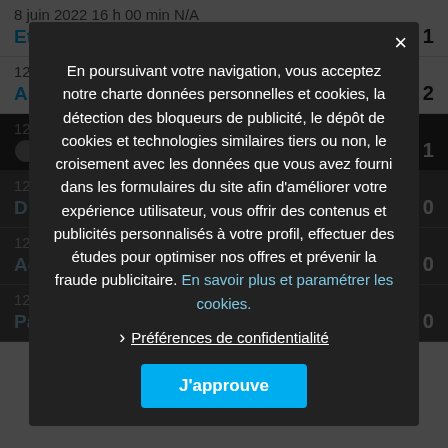8 juin 2022 16 h 00 min N/A
Eternel – ASVO  2 - 1
12 juin 2022 16 h 00 min N/A
As Cotonou – Buffles  2 - 2
En poursuivant votre navigation, vous acceptez notre charte données personnelles et cookies, la détection des bloqueurs de publicité, le dépôt de cookies et technologies similaires tiers ou non, le croisement avec les données que vous avez fourni dans les formulaires du site afin d'améliorer votre expérience utilisateur, vous offrir des contenus et publicités personnalisés à votre profil, effectuer des études pour optimiser nos offres et prévenir la fraude publicitaire. En savoir plus et paramétrer les cookies.
Préférences de confidentialité
J'approuve
12 juin 2022 16 h 00 min N/A
Adjidja  1 - 0
12 juin 2022 16 h 00 min N/A
Panthères – Eternel  2 - 0